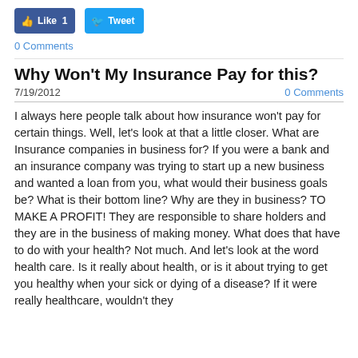[Figure (other): Facebook Like button showing '1' and Twitter Tweet button]
0 Comments
Why Won't My Insurance Pay for this?
7/19/2012
0 Comments
I always here people talk about how insurance won't pay for certain things.  Well, let's look at that a little closer.  What are Insurance companies in business for?  If you were a bank and an insurance company was trying to start up a new business and wanted a loan from you, what would their business goals be?  What is their bottom line?  Why are they in business?  TO MAKE A PROFIT!  They are responsible to share holders and they are in the business of making money.  What does that have to do with your health?  Not much.  And let's look at the word health care.  Is it really about health, or is it about trying to get you healthy when your sick or dying of a disease?  If it were really healthcare, wouldn't they